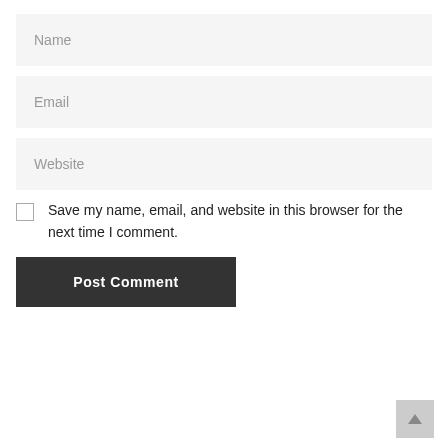Name
Email
Website
Save my name, email, and website in this browser for the next time I comment.
Post Comment